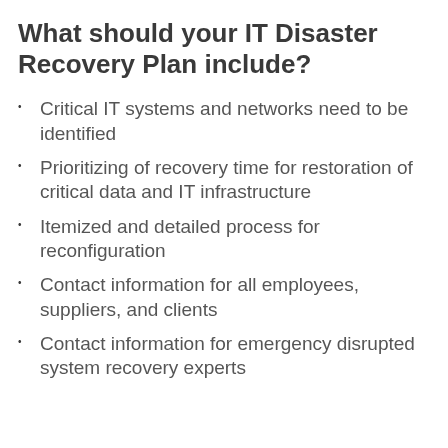What should your IT Disaster Recovery Plan include?
Critical IT systems and networks need to be identified
Prioritizing of recovery time for restoration of critical data and IT infrastructure
Itemized and detailed process for reconfiguration
Contact information for all employees, suppliers, and clients
Contact information for emergency disrupted system recovery experts